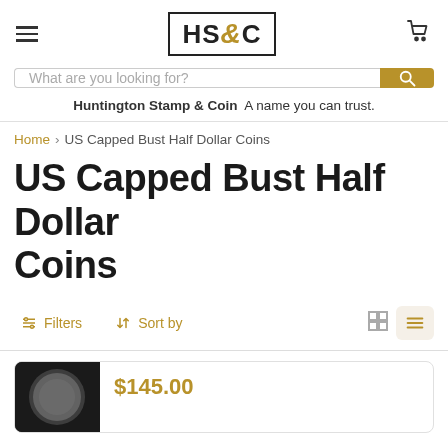[Figure (logo): HS&C logo with border, HS and C in black bold serif, & in gold italic. Hamburger menu icon on left, shopping cart icon on right.]
What are you looking for?
Huntington Stamp & Coin  A name you can trust.
Home > US Capped Bust Half Dollar Coins
US Capped Bust Half Dollar Coins
Filters  Sort by
$145.00